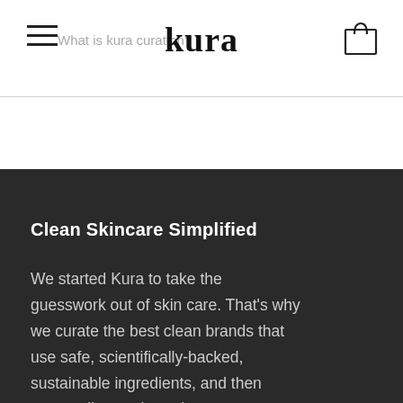kura
Clean Skincare Simplified
We started Kura to take the guesswork out of skin care. That's why we curate the best clean brands that use safe, scientifically-backed, sustainable ingredients, and then personalize each routine to your individual needs and goals. Because